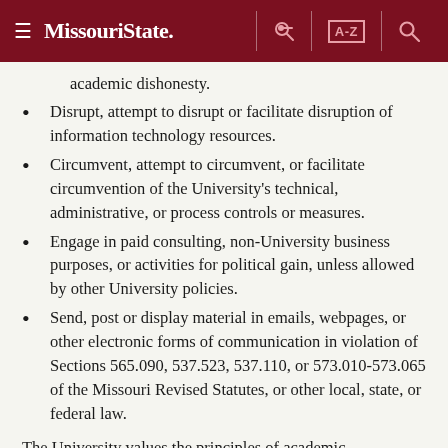Missouri State [navigation header with menu, A-Z, and search icons]
academic dishonesty.
Disrupt, attempt to disrupt or facilitate disruption of information technology resources.
Circumvent, attempt to circumvent, or facilitate circumvention of the University's technical, administrative, or process controls or measures.
Engage in paid consulting, non-University business purposes, or activities for political gain, unless allowed by other University policies.
Send, post or display material in emails, webpages, or other electronic forms of communication in violation of Sections 565.090, 537.523, 537.110, or 573.010-573.065 of the Missouri Revised Statutes, or other local, state, or federal law.
The University values the principles of academic